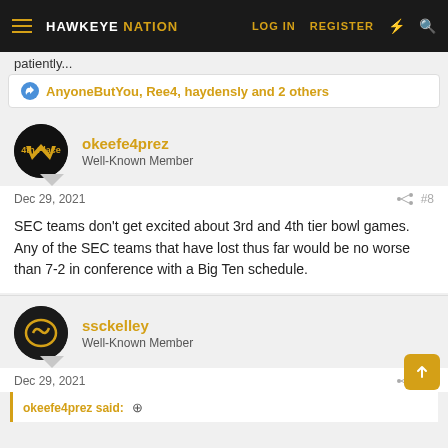HAWKEYE NATION — LOG IN  REGISTER
patiently...
👍 AnyoneButYou, Ree4, haydensly and 2 others
okeefe4prez
Well-Known Member
Dec 29, 2021  #8
SEC teams don't get excited about 3rd and 4th tier bowl games. Any of the SEC teams that have lost thus far would be no worse than 7-2 in conference with a Big Ten schedule.
ssckelley
Well-Known Member
Dec 29, 2021  #9
okeefe4prez said: